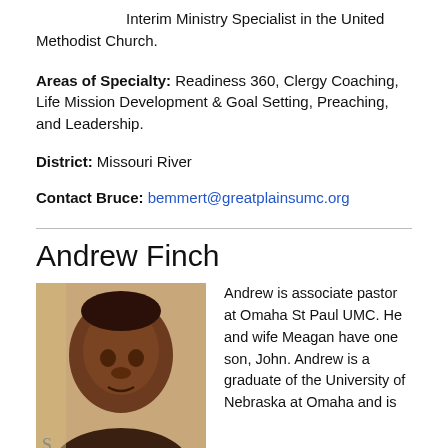Interim Ministry Specialist in the United Methodist Church.
Areas of Specialty: Readiness 360, Clergy Coaching, Life Mission Development & Goal Setting, Preaching, and Leadership.
District: Missouri River
Contact Bruce: bemmert@greatplainsumc.org
Andrew Finch
[Figure (photo): Headshot photo of Andrew Finch, a Black man, close-up portrait.]
Andrew is associate pastor at Omaha St Paul UMC. He and wife Meagan have one son, John. Andrew is a graduate of the University of Nebraska at Omaha and is